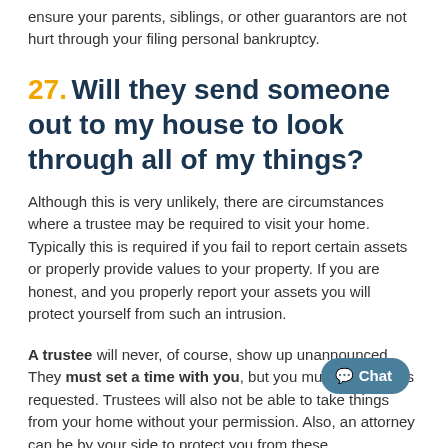ensure your parents, siblings, or other guarantors are not hurt through your filing personal bankruptcy.
27. Will they send someone out to my house to look through all of my things?
Although this is very unlikely, there are circumstances where a trustee may be required to visit your home. Typically this is required if you fail to report certain assets or properly provide values to your property. If you are honest, and you properly report your assets you will protect yourself from such an intrusion.
A trustee will never, of course, show up unannounced. They must set a time with you, but you must show up as requested. Trustees will also not be able to take things from your home without your permission. Also, an attorney can be by your side to protect you from these